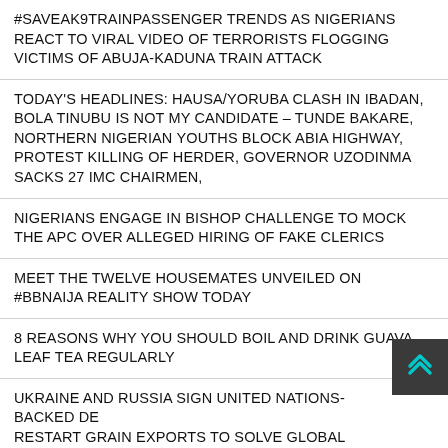#SAVEAK9TRAINPASSENGER TRENDS AS NIGERIANS REACT TO VIRAL VIDEO OF TERRORISTS FLOGGING VICTIMS OF ABUJA-KADUNA TRAIN ATTACK
TODAY'S HEADLINES: HAUSA/YORUBA CLASH IN IBADAN, BOLA TINUBU IS NOT MY CANDIDATE – TUNDE BAKARE, NORTHERN NIGERIAN YOUTHS BLOCK ABIA HIGHWAY, PROTEST KILLING OF HERDER, GOVERNOR UZODINMA SACKS 27 IMC CHAIRMEN,
NIGERIANS ENGAGE IN BISHOP CHALLENGE TO MOCK THE APC OVER ALLEGED HIRING OF FAKE CLERICS
MEET THE TWELVE HOUSEMATES UNVEILED ON #BBNAIJA REALITY SHOW TODAY
8 REASONS WHY YOU SHOULD BOIL AND DRINK GUAVA LEAF TEA REGULARLY
UKRAINE AND RUSSIA SIGN UNITED NATIONS-BACKED DEAL TO RESTART GRAIN EXPORTS TO SOLVE GLOBAL FOOD CRISIS (PHOTOS)